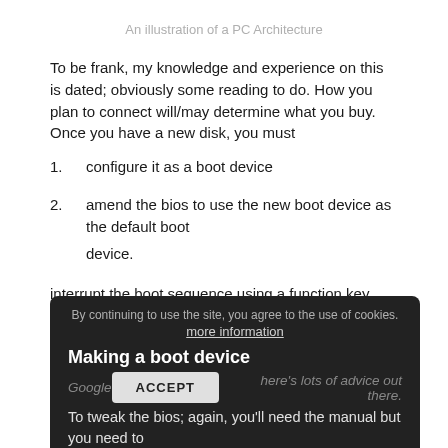An illustration of a PC Architecture
To be frank, my knowledge and experience on this is dated; obviously some reading to do. How you plan to connect will/may determine what you buy.
Once you have a new disk, you must
configure it as a boot device
amend the bios to use the new boot device as the default boot device.
By continuing to use the site, you agree to the use of cookies.
more information
Making a boot device
Google there's lots of advice out there.
To tweak the bios; again, you'll need the manual but you need to
interrupt the boot sequence using a function key and then, again,